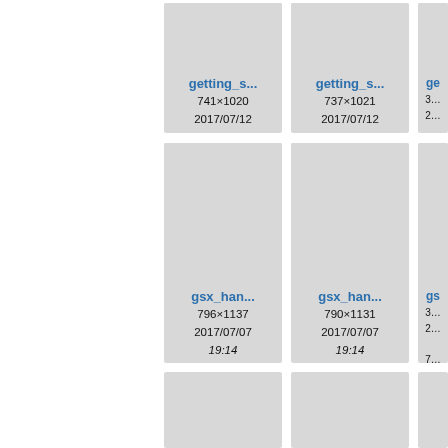[Figure (screenshot): File browser thumbnail grid showing image files: getting_s... (741×1020, 2017/07/12 13:16, 153.8 KB), getting_s... (737×1021, 2017/07/12 13:16, 139 KB), partial third card top-right; gsx_han... (796×1137, 2017/07/07 19:14, 123.5 KB), gsx_han... (790×1131, 2017/07/07 19:14, 37.3 KB), partial third card; two more partial cards at bottom.]